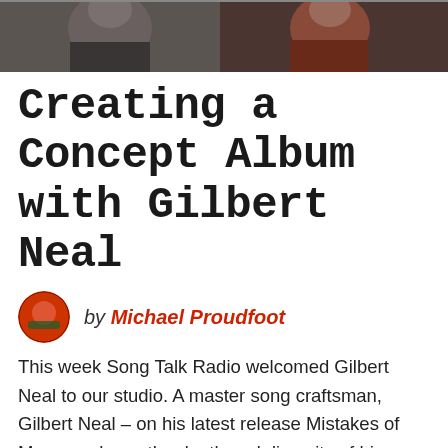[Figure (photo): Photo strip at top showing two people in a studio setting, partially cropped]
Creating a Concept Album with Gilbert Neal
by Michael Proudfoot
This week Song Talk Radio welcomed Gilbert Neal to our studio. A master song craftsman, Gilbert Neal – on his latest release Mistakes of Memory shows the depth and diversity of his influences: Leonard Cohen, Pink Floyd, ELO, Stevie Wonder, Steely Dan, Stephen Sondheim. Relying on his mastery of musical theatre and zeal for classic …